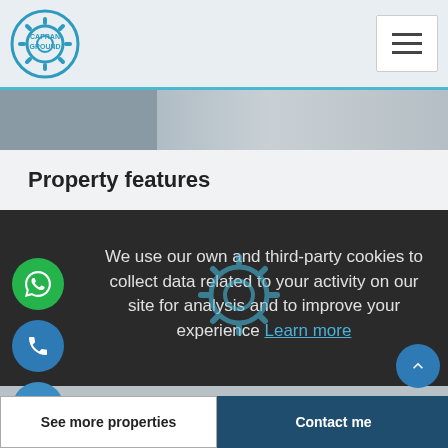[Figure (logo): Capran Ground gear logo in blue circle, top left header]
[Figure (illustration): Hamburger menu icon, three horizontal lines in white box, top right header]
[Figure (photo): Image strip showing partial property/apartment photos in grayscale]
Property features
We use our own and third-party cookies to collect data related to your activity on our site for analysis and to improve your experience Learn more
[Figure (logo): Capran Ground gear logo watermark overlaid on dark section]
⚠ Someone has just booked this apartment online and is no longer available
See more properties
Contact me